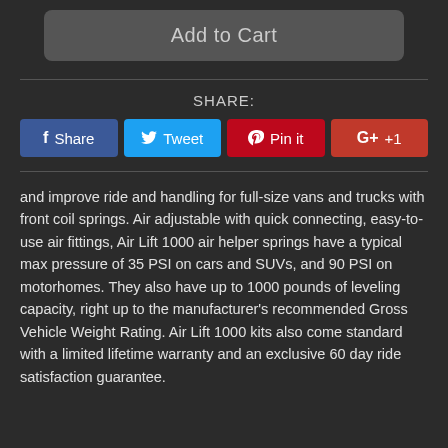[Figure (screenshot): Add to Cart button — dark rounded rectangle with light gray text]
SHARE:
[Figure (infographic): Social share buttons: Facebook Share (blue), Twitter Tweet (light blue), Pinterest Pin it (red), Google+ +1 (dark red)]
and improve ride and handling for full-size vans and trucks with front coil springs. Air adjustable with quick connecting, easy-to-use air fittings, Air Lift 1000 air helper springs have a typical max pressure of 35 PSI on cars and SUVs, and 90 PSI on motorhomes. They also have up to 1000 pounds of leveling capacity, right up to the manufacturer's recommended Gross Vehicle Weight Rating. Air Lift 1000 kits also come standard with a limited lifetime warranty and an exclusive 60 day ride satisfaction guarantee.